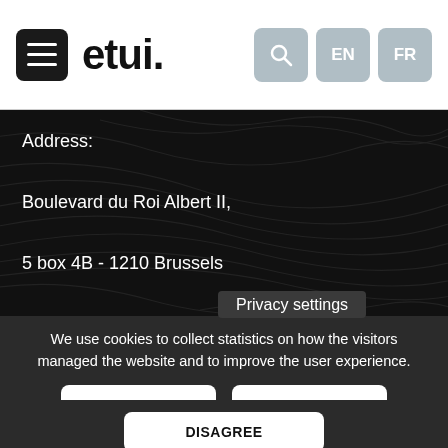etui.
Address:

Boulevard du Roi Albert II,

5 box 4B - 1210 Brussels

Tel: +32 (0)2 224 04 70

Fax: +32 (0)2 224 05 0
Privacy settings
We use cookies to collect statistics on how the visitors managed the website and to improve the user experience.
READ MORE
AGREE
DISAGREE